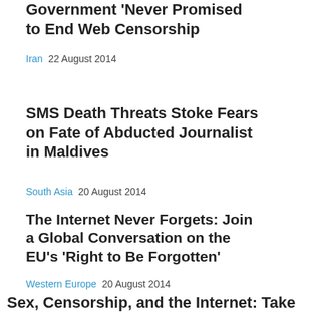Government 'Never Promised to End Web Censorship
Iran  22 August 2014
SMS Death Threats Stoke Fears on Fate of Abducted Journalist in Maldives
South Asia  20 August 2014
The Internet Never Forgets: Join a Global Conversation on the EU's 'Right to Be Forgotten'
Western Europe  20 August 2014
Sex, Censorship, and the Internet: Take the EROTICS Survey